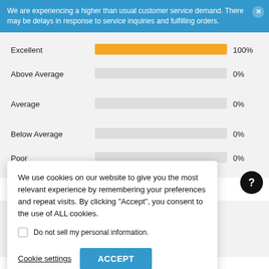We are experiencing a higher than usual customer service demand. There may be delays in response to service inquiries and fulfilling orders.
[Figure (bar-chart): Rating distribution]
5 Burners
longer have to my cooking at
We use cookies on our website to give you the most relevant experience by remembering your preferences and repeat visits. By clicking "Accept", you consent to the use of ALL cookies.
Do not sell my personal information.
Cookie settings
ACCEPT